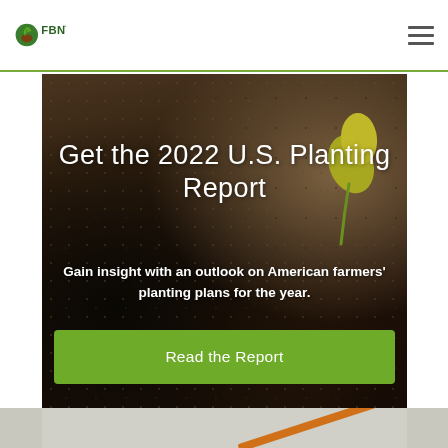FBN
Get the 2022 U.S. Planting Report
Gain insight with an outlook on American farmers' planting plans for the year.
Read the Report